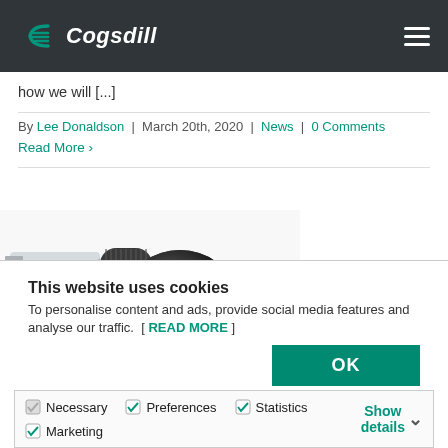Cogsdill
how we will [...]
By Lee Donaldson | March 20th, 2020 | News | 0 Comments
Read More >
[Figure (photo): Industrial machining tool — metal burnishing or roller burnishing tool with knurled grip sections]
This website uses cookies
To personalise content and ads, provide social media features and analyse our traffic. [ READ MORE ]
OK
Necessary  Preferences  Statistics  Marketing  Show details